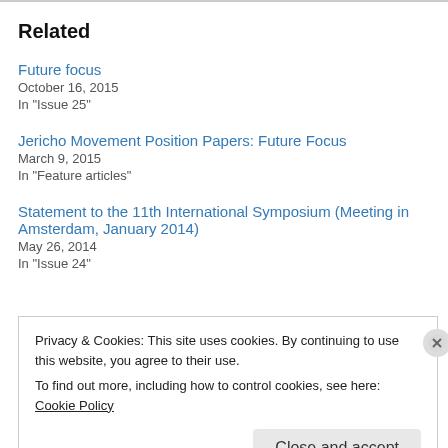Related
Future focus
October 16, 2015
In "Issue 25"
Jericho Movement Position Papers: Future Focus
March 9, 2015
In "Feature articles"
Statement to the 11th International Symposium (Meeting in Amsterdam, January 2014)
May 26, 2014
In "Issue 24"
Privacy & Cookies: This site uses cookies. By continuing to use this website, you agree to their use.
To find out more, including how to control cookies, see here: Cookie Policy
Close and accept